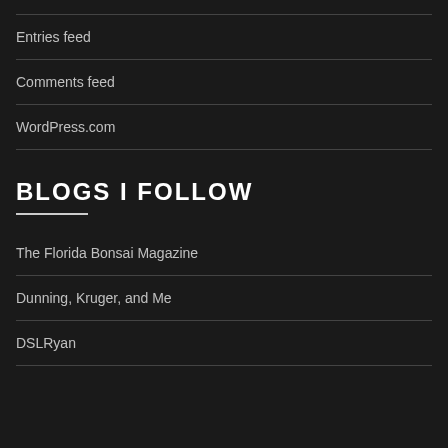Entries feed
Comments feed
WordPress.com
BLOGS I FOLLOW
The Florida Bonsai Magazine
Dunning, Kruger, and Me
DSLRyan